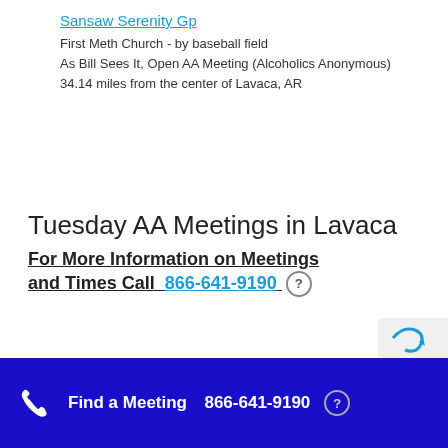Sansaw Serenity Gp
First Meth Church - by baseball field
As Bill Sees It, Open AA Meeting (Alcoholics Anonymous)
34.14 miles from the center of Lavaca, AR
Tuesday AA Meetings in Lavaca
For More Information on Meetings and Times Call  866-641-9190
Find a Meeting  866-641-9190